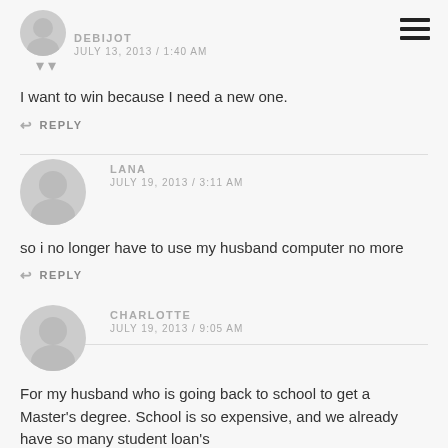DEBIJOT
JULY 13, 2013 / 1:40 AM
I want to win because I need a new one.
REPLY
LANA
JULY 19, 2013 / 3:11 AM
so i no longer have to use my husband computer no more
REPLY
CHARLOTTE
JULY 19, 2013 / 9:05 AM
For my husband who is going back to school to get a Master's degree. School is so expensive, and we already have so many student loan's